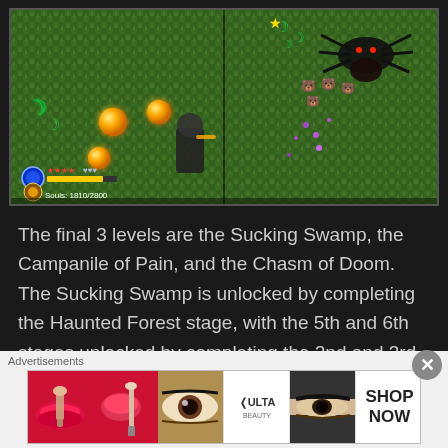[Figure (screenshot): Video game screenshot showing a top-down view of a grassy swamp/forest level. The screen has a dividing line in the middle. Left side shows a player character with health/souls HUD showing red stars, grey hearts, yellow health bar, and text 'Souls: 1810/2800'. There are glowing orange orbs and green crescent moon shapes. Right side shows a large spider enemy with bear-shaped enemies and purple projectiles scattered on the grass.]
The final 3 levels are the Sucking Swamp, the Campanile of Pain, and the Chasm of Doom. The Sucking Swamp is unlocked by completing the Haunted Forest stage, with the 5th and 6th stages unlocked by completing the 2nd and 3rd stages respectively.
Advertisements
[Figure (photo): Advertisement banner for ULTA beauty products showing close-up beauty/makeup photos: red lips with brush, makeup brush, eye with dramatic makeup, ULTA Beauty logo, smoky eye close-up, and SHOP NOW text button.]